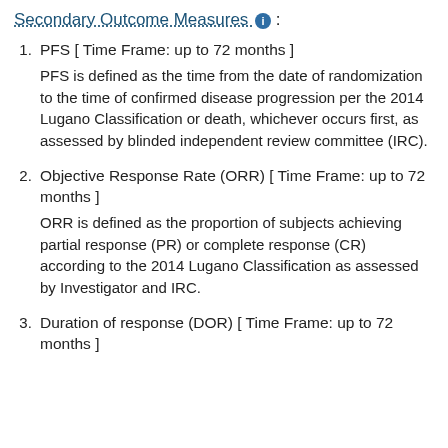Secondary Outcome Measures :
PFS [ Time Frame: up to 72 months ]
PFS is defined as the time from the date of randomization to the time of confirmed disease progression per the 2014 Lugano Classification or death, whichever occurs first, as assessed by blinded independent review committee (IRC).
Objective Response Rate (ORR) [ Time Frame: up to 72 months ]
ORR is defined as the proportion of subjects achieving partial response (PR) or complete response (CR) according to the 2014 Lugano Classification as assessed by Investigator and IRC.
Duration of response (DOR) [ Time Frame: up to 72 months ]